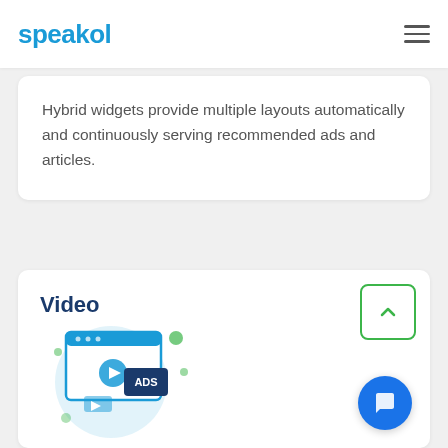speakol
Hybrid widgets provide multiple layouts automatically and continuously serving recommended ads and articles.
Video
[Figure (illustration): Video and ads illustration showing a browser window with a play button and an ADS label overlaid, set against a light blue circular background with green dot accents.]